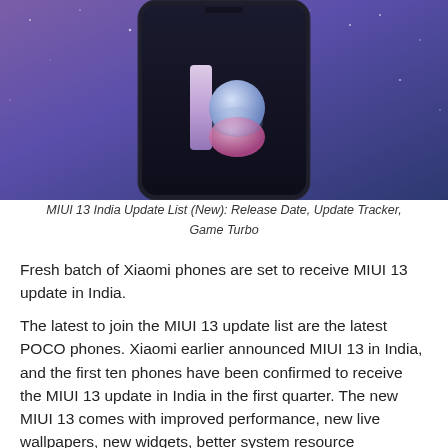[Figure (photo): A Xiaomi smartphone showing the MIUI 13 logo on its screen against a purple/blue starry background. The phone is shown from the front with a dark bezel-less design.]
MIUI 13 India Update List (New): Release Date, Update Tracker, Game Turbo
Fresh batch of Xiaomi phones are set to receive MIUI 13 update in India.
The latest to join the MIUI 13 update list are the latest POCO phones. Xiaomi earlier announced MIUI 13 in India, and the first ten phones have been confirmed to receive the MIUI 13 update in India in the first quarter. The new MIUI 13 comes with improved performance, new live wallpapers, new widgets, better system resource management, improved multitasking and longer battery life.